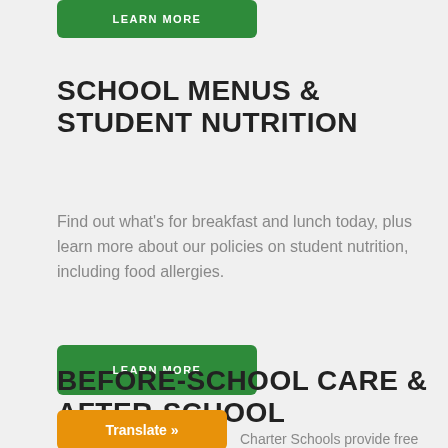LEARN MORE
SCHOOL MENUS & STUDENT NUTRITION
Find out what's for breakfast and lunch today, plus learn more about our policies on student nutrition, including food allergies.
LEARN MORE
BEFORE-SCHOOL CARE & AFTER-SCHOOL PROGRAMS
Translate »
Charter Schools provide free before